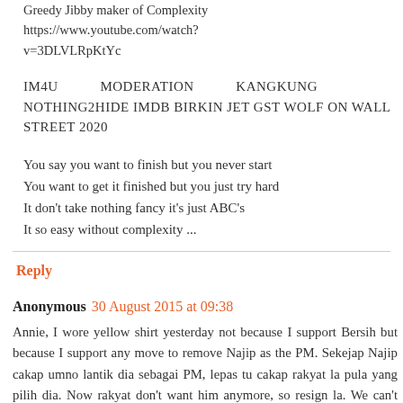Greedy Jibby maker of Complexity https://www.youtube.com/watch?v=3DLVLRpKtYc
IM4U MODERATION KANGKUNG NOTHING2HIDE IMDB BIRKIN JET GST WOLF ON WALL STREET 2020
You say you want to finish but you never start
You want to get it finished but you just try hard
It don't take nothing fancy it's just ABC's
It so easy without complexity ...
Reply
Anonymous 30 August 2015 at 09:38
Annie, I wore yellow shirt yesterday not because I support Bersih but because I support any move to remove Najip as the PM. Sekejap Najip cakap umno lantik dia sebagai PM, lepas tu cakap rakyat la pula yang pilih dia. Now rakyat don't want him anymore, so resign la. We can't wait for